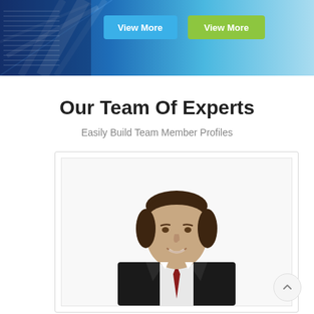[Figure (screenshot): Banner header with blue gradient background featuring a building/architecture image with diagonal light beams. Contains two buttons: 'View More' (blue) and 'View More' (green).]
Our Team Of Experts
Easily Build Team Member Profiles
[Figure (photo): Professional headshot of a smiling businessman in a dark suit with a red tie, white shirt, with short dark hair.]